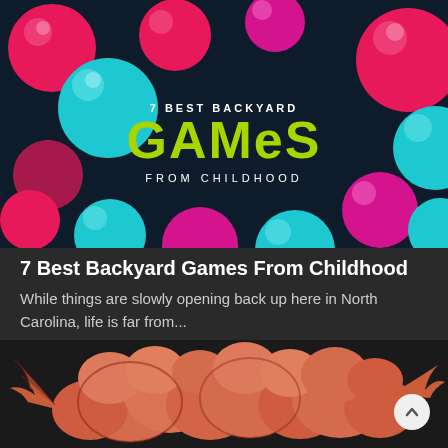[Figure (illustration): Dark navy background with large glossy pink and cyan/teal circular balls scattered around. Center text reads '7 BEST BACKYARD' in small white uppercase letters, 'GAMeS' in large bold lime-green pixel-style font, and 'FROM CHILDHOOD' in small spaced white uppercase letters below.]
7 Best Backyard Games From Childhood
While things are slowly opening back up here in North Carolina, life is far from...
[Figure (illustration): Orange/salmon colored cartoon explosion smoke cloud illustration on dark background.]